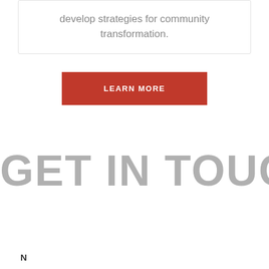develop strategies for community transformation.
LEARN MORE
GET IN TOUCH
N